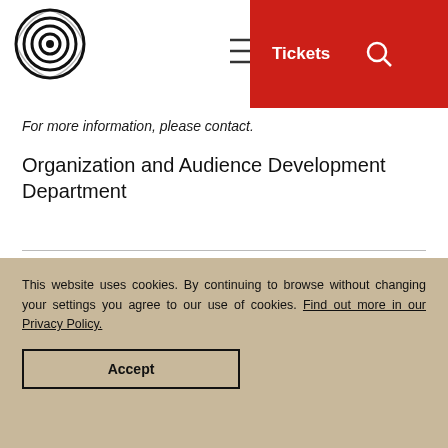NOSPR – logo, hamburger menu, Tickets button, search icon
For more information, please contact.
Organization and Audience Development Department
e-mail: kontakt@nospr.org.pl
tel. 32 73-25-321
This website uses cookies. By continuing to browse without changing your settings you agree to our use of cookies. Find out more in our Privacy Policy.
Accept